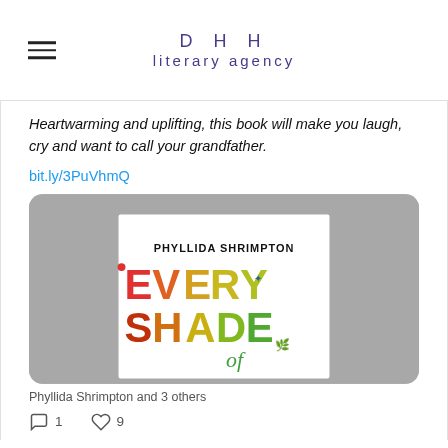DHH literary agency
Heartwarming and uplifting, this book will make you laugh, cry and want to call your grandfather.
bit.ly/3PuVhmQ
[Figure (photo): Book cover of 'Every Shade of' by Phyllida Shrimpton showing colorful rainbow lettering on a white book held against a grey background]
Phyllida Shrimpton and 3 others
1 reply, 9 likes
DHH Literary ... @DHHlit... · Aug 18 — Released today in hardback, eBook & audio